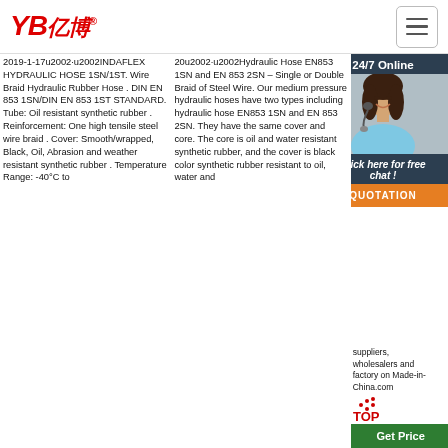YB亿博® [logo] [hamburger menu]
2019-1-17u2002·u2002INDAFLEX HYDRAULIC HOSE 1SN/1ST. Wire Braid Hydraulic Rubber Hose . DIN EN 853 1SN/DIN EN 853 1ST STANDARD. Tube: Oil resistant synthetic rubber . Reinforcement: One high tensile steel wire braid . Cover: Smooth/wrapped, Black, Oil, Abrasion and weather resistant synthetic rubber . Temperature Range: -40°C to
20u2002·u2002Hydraulic Hose EN853 1SN and EN 853 2SN – Single or Double Braid of Steel Wire. Our medium pressure hydraulic hoses have two types including hydraulic hose EN853 1SN and EN 853 2SN. They have the same cover and core. The core is oil and water resistant synthetic rubber, and the cover is black color synthetic rubber resistant to oil, water and
China Rubber manufacturers - Select quality Rubber products in best price from certified Chinese Rubber manufacturers, China Rubber Compound suppliers, wholesalers and factory on Made-in-China.com
[Figure (photo): Customer service representative with headset, smiling, used as a 24/7 Online chat widget for the YB website]
24/7 Online
Click here for free chat !
QUOTATION
Get Price